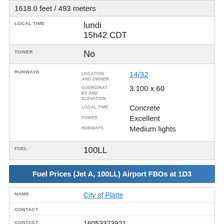1618.0 feet / 493 meters
| LOCAL TIME | lundi
15h42 CDT |
| TOWER | No |
| RUNWAYS | 14/32 | COORDINATES AND ELEVATION: 3.100 x 60 | LOCAL TIME: Concrete | TOWER: Excellent | RUNWAYS: Medium lights |
| FUEL | 100LL |
Fuel Prices (Jet A, 100LL) Airport FBOs at 1D3
| NAME | City of Platte |
| CONTACT |  |
| CONTACT | 16053373921 |
| READY TO TAXI™ | Setup FBO Location |
| 100LL | $6.75 |